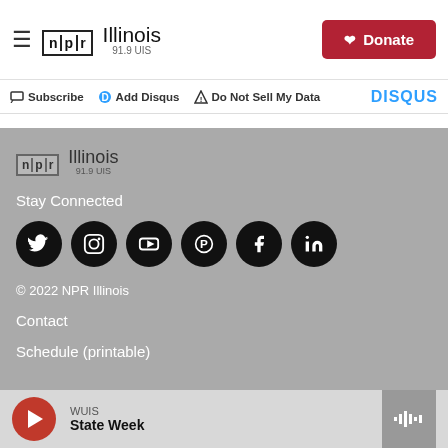NPR Illinois 91.9 UIS — Donate
Subscribe  Add Disqus  Do Not Sell My Data  DISQUS
[Figure (logo): NPR Illinois 91.9 UIS logo (footer version)]
Stay Connected
[Figure (illustration): Social media icons: Twitter, Instagram, YouTube, Pinterest, Facebook, LinkedIn — white icons on black circles]
© 2022 NPR Illinois
Contact
Schedule (printable)
WUIS  State Week